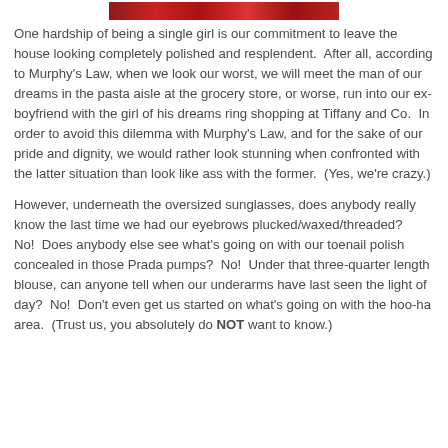[Figure (photo): A horizontal strip of a photo showing red and dark tones, partially cropped at the top of the page.]
One hardship of being a single girl is our commitment to leave the house looking completely polished and resplendent.  After all, according to Murphy's Law, when we look our worst, we will meet the man of our dreams in the pasta aisle at the grocery store, or worse, run into our ex-boyfriend with the girl of his dreams ring shopping at Tiffany and Co.  In order to avoid this dilemma with Murphy's Law, and for the sake of our pride and dignity, we would rather look stunning when confronted with the latter situation than look like ass with the former.  (Yes, we're crazy.)
However, underneath the oversized sunglasses, does anybody really know the last time we had our eyebrows plucked/waxed/threaded?  No!  Does anybody else see what's going on with our toenail polish concealed in those Prada pumps?  No!  Under that three-quarter length blouse, can anyone tell when our underarms have last seen the light of day?  No!  Don't even get us started on what's going on with the hoo-ha area.  (Trust us, you absolutely do NOT want to know.)